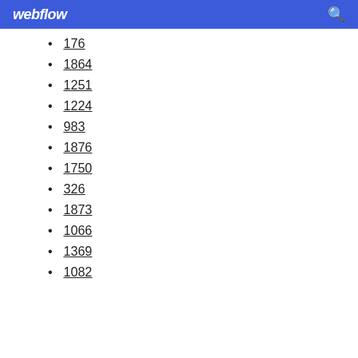webflow
176
1864
1251
1224
983
1876
1750
326
1873
1066
1369
1082